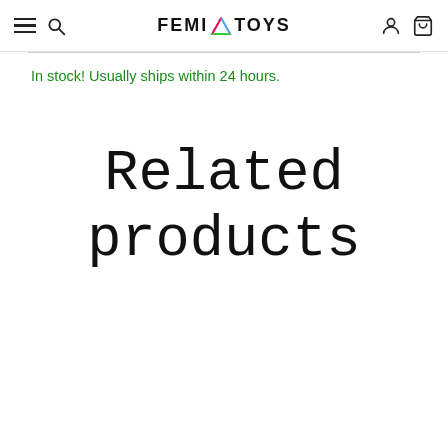FEMI TOYS
In stock! Usually ships within 24 hours.
Related products